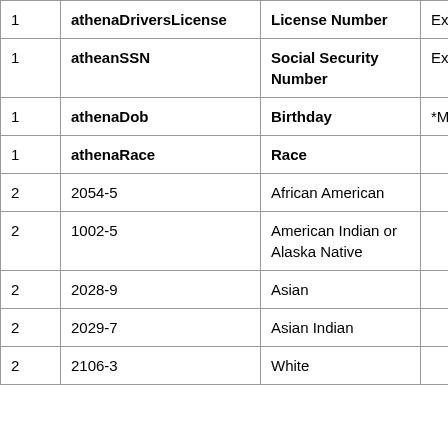|  |  |  |  |
| --- | --- | --- | --- |
| 1 | athenaDriversLicense | License Number | Ex: Image |
| 1 | atheanSSN | Social Security Number | Ex: Image |
| 1 | athenaDob | Birthday | *Must Hav |
| 1 | athenaRace | Race |  |
| 2 | 2054-5 | African American |  |
| 2 | 1002-5 | American Indian or Alaska Native |  |
| 2 | 2028-9 | Asian |  |
| 2 | 2029-7 | Asian Indian |  |
| 2 | 2106-3 | White |  |